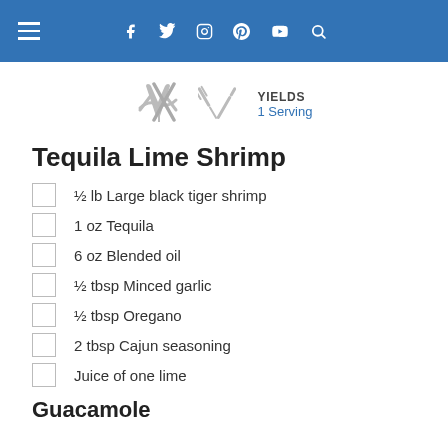Navigation bar with social icons
YIELDS
1 Serving
Tequila Lime Shrimp
½ lb Large black tiger shrimp
1 oz Tequila
6 oz Blended oil
½ tbsp Minced garlic
½ tbsp Oregano
2 tbsp Cajun seasoning
Juice of one lime
Guacamole